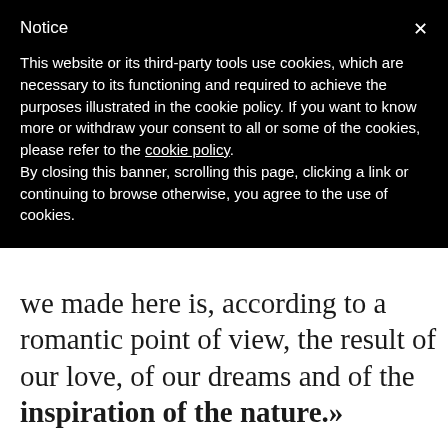Notice
This website or its third-party tools use cookies, which are necessary to its functioning and required to achieve the purposes illustrated in the cookie policy. If you want to know more or withdraw your consent to all or some of the cookies, please refer to the cookie policy.
By closing this banner, scrolling this page, clicking a link or continuing to browse otherwise, you agree to the use of cookies.
we made here is, according to a romantic point of view, the result of our love, of our dreams and of the inspiration of the nature.»